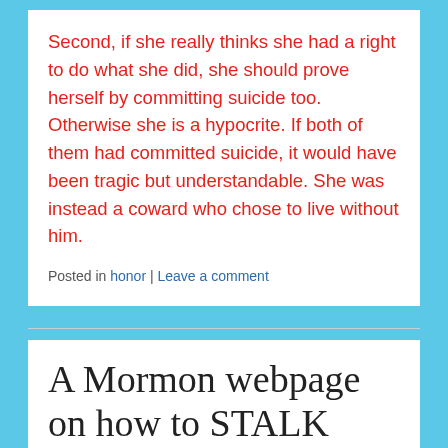Second, if she really thinks she had a right to do what she did, she should prove herself by committing suicide too. Otherwise she is a hypocrite. If both of them had committed suicide, it would have been tragic but understandable. She was instead a coward who chose to live without him.
Posted in honor | Leave a comment
A Mormon webpage on how to STALK